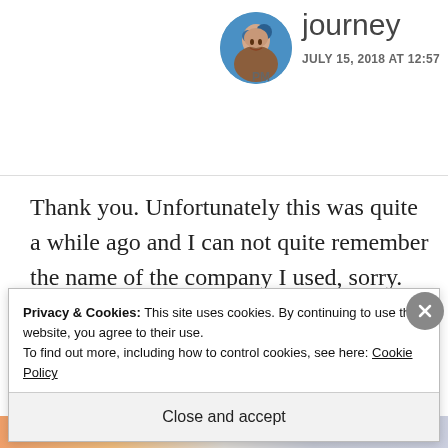[Figure (photo): Circular avatar photo of a person with blue/colorful background]
journey
JULY 15, 2018 AT 12:57 PM
Thank you. Unfortunately this was quite a while ago and I can not quite remember the name of the company I used, sorry.
★ Like
Privacy & Cookies: This site uses cookies. By continuing to use this website, you agree to their use.
To find out more, including how to control cookies, see here: Cookie Policy
Close and accept